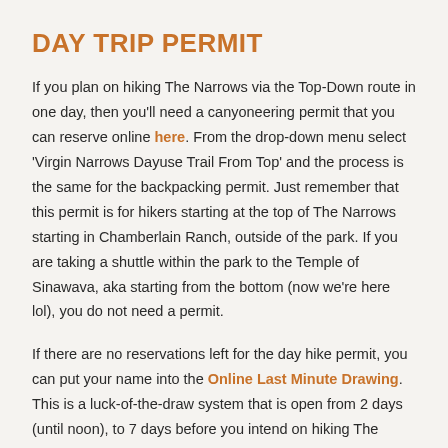DAY TRIP PERMIT
If you plan on hiking The Narrows via the Top-Down route in one day, then you'll need a canyoneering permit that you can reserve online here. From the drop-down menu select 'Virgin Narrows Dayuse Trail From Top' and the process is the same for the backpacking permit. Just remember that this permit is for hikers starting at the top of The Narrows starting in Chamberlain Ranch, outside of the park. If you are taking a shuttle within the park to the Temple of Sinawava, aka starting from the bottom (now we're here lol), you do not need a permit.
If there are no reservations left for the day hike permit, you can put your name into the Online Last Minute Drawing. This is a luck-of-the-draw system that is open from 2 days (until noon), to 7 days before you intend on hiking The Narrows. The drawing takes place 2 days prior